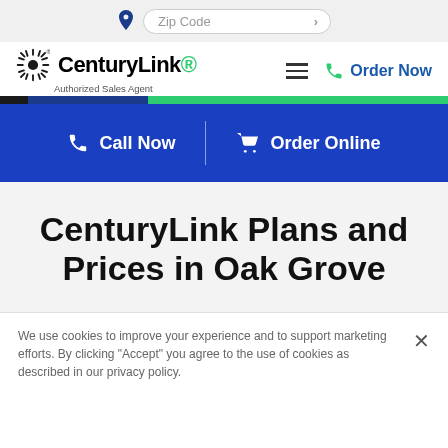[Figure (screenshot): Zip code search bar with location pin icon and arrow button]
[Figure (logo): CenturyLink Authorized Sales Agent logo with sunburst icon]
Order Now
[Figure (infographic): Blue CTA bar with Call Now and Order Online buttons separated by a vertical divider]
CenturyLink Plans and Prices in Oak Grove
We use cookies to improve your experience and to support marketing efforts. By clicking "Accept" you agree to the use of cookies as described in our privacy policy.